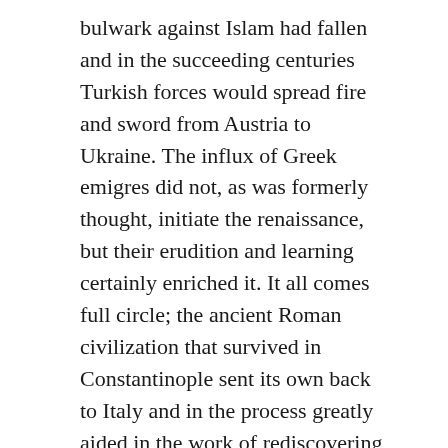bulwark against Islam had fallen and in the succeeding centuries Turkish forces would spread fire and sword from Austria to Ukraine. The influx of Greek emigres did not, as was formerly thought, initiate the renaissance, but their erudition and learning certainly enriched it. It all comes full circle; the ancient Roman civilization that survived in Constantinople sent its own back to Italy and in the process greatly aided in the work of rediscovering the classic texts and improving upon them.
[Figure (logo): Small green square logo with white 'tR' text]
Todd Lewis / July 16, 2015